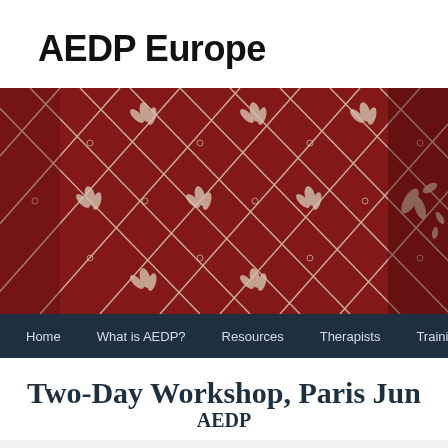AEDP Europe
[Figure (photo): Decorative red textile/fabric with white geometric and floral patterns forming a lattice design with leaf and bird-like motifs]
Home  What is AEDP?  Resources  Therapists  Training  Mi
Two-Day Workshop, Paris Jun
AEDP